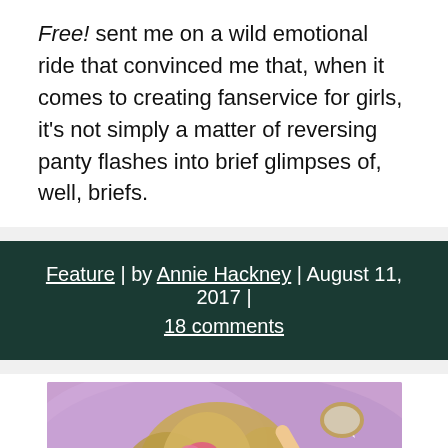Free! sent me on a wild emotional ride that convinced me that, when it comes to creating fanservice for girls, it's not simply a matter of reversing panty flashes into brief glimpses of, well, briefs.
Feature | by Annie Hackney | August 11, 2017 | 18 comments
[Figure (illustration): Anime illustration of a girl with long flowing golden-brown hair and a pink bow, holding up a small mirror that sparkles, set against a purple background with sparkle effects.]